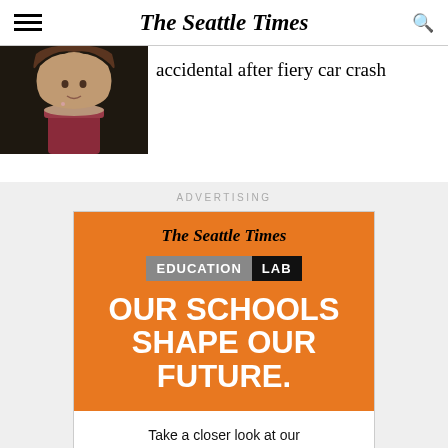The Seattle Times
accidental after fiery car crash
[Figure (photo): Portrait photo of a woman with blonde hair against a dark background]
ADVERTISING
[Figure (infographic): The Seattle Times Education Lab advertisement. Orange box with 'The Seattle Times' header, 'EDUCATION LAB' label, and 'OUR SCHOOLS SHAPE OUR FUTURE.' Large white text. White lower section: 'Take a closer look at our region's classrooms. EDUCATION LAB >']